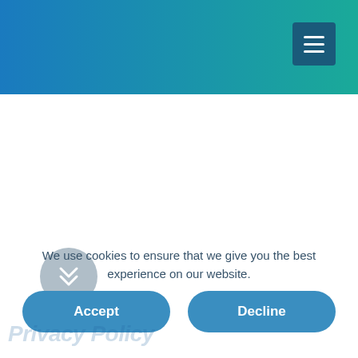[Figure (screenshot): Website header with blue-to-teal gradient background and a dark blue hamburger menu button in the top right corner]
[Figure (other): Circular scroll-down button with double chevron icon, light grey color]
We use cookies to ensure that we give you the best experience on our website.
Accept
Decline
Privacy Policy